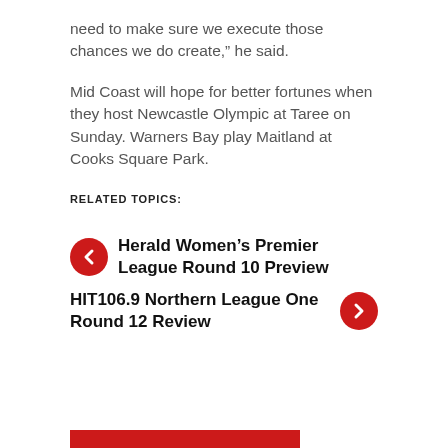need to make sure we execute those chances we do create,” he said.
Mid Coast will hope for better fortunes when they host Newcastle Olympic at Taree on Sunday. Warners Bay play Maitland at Cooks Square Park.
RELATED TOPICS:
❮ Herald Women’s Premier League Round 10 Preview
HIT106.9 Northern League One Round 12 Review ❯